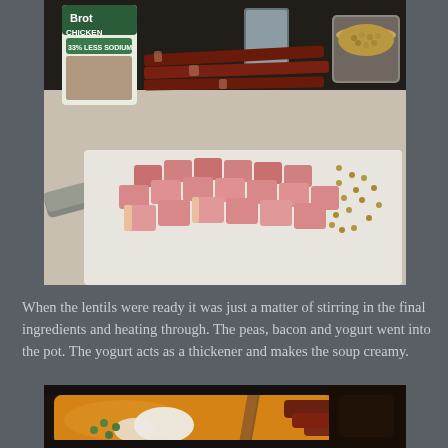[Figure (photo): Kitchen counter with ingredients for soup: a carton of chicken broth (33% less sodium), strips of cooked bacon, a measuring cup filled with lentils, scattered lentils, and a pile of diced ham on a cutting board.]
When the lentils were ready it was just a matter of stirring in the final ingredients and heating through. The peas, bacon and yogurt went into the pot. The yogurt acts as a thickener and makes the soup creamy.
[Figure (photo): A dark pot on a stove containing a golden-orange soup with visible ingredients including white yogurt dollops, green peas, and pieces of cooked bacon/sausage being stirred with a wooden spoon.]